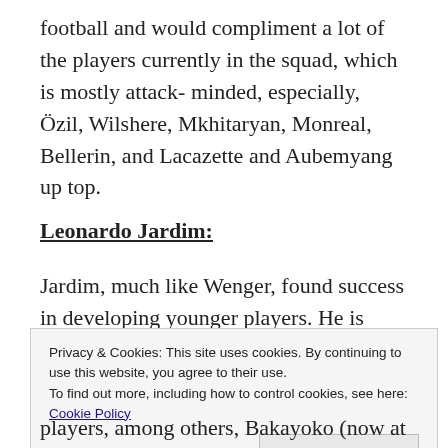football and would compliment a lot of the players currently in the squad, which is mostly attack- minded, especially, Özil, Wilshere, Mkhitaryan, Monreal, Bellerin, and Lacazette and Aubemyang up top.
Leonardo Jardim:
Jardim, much like Wenger, found success in developing younger players. He is responsible
Privacy & Cookies: This site uses cookies. By continuing to use this website, you agree to their use.
To find out more, including how to control cookies, see here:
Cookie Policy
Close and accept
players, among others, Bakayoko (now at